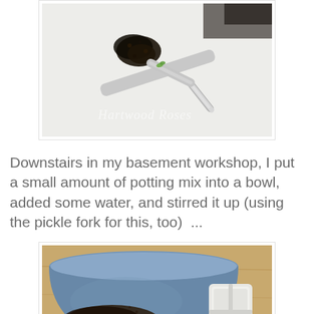[Figure (photo): A close-up photo of a small amount of dark soil/potting mix on a metallic pickle fork, resting on a white textured surface. A tiny green seedling sprout is visible near the fork. Watermark text reads 'Hartwood Roses' in script.]
Downstairs in my basement workshop, I put a small amount of potting mix into a bowl, added some water, and stirred it up (using the pickle fork for this, too)  ...
[Figure (photo): A photo of a blue metal bowl containing dark potting mix with some water on a wooden surface, with a small white plastic container visible to the right.]